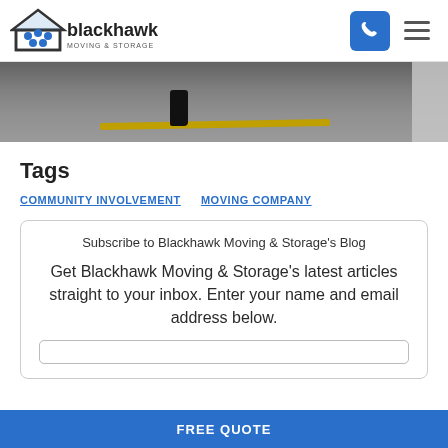[Figure (logo): Blackhawk Moving & Storage logo with house icon and people silhouettes]
[Figure (photo): Street-level photo showing dark asphalt pavement with yellow painted line and a boot/foot, with a light-colored wall on the right edge]
Tags
COMMUNITY INVOLVEMENT
MOVING COMPANY
Subscribe to Blackhawk Moving & Storage's Blog
Get Blackhawk Moving & Storage's latest articles straight to your inbox. Enter your name and email address below.
FREE QUOTE